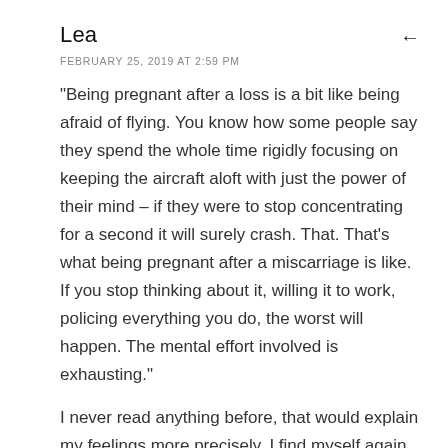Lea
FEBRUARY 25, 2019 AT 2:59 PM
"Being pregnant after a loss is a bit like being afraid of flying. You know how some people say they spend the whole time rigidly focusing on keeping the aircraft aloft with just the power of their mind – if they were to stop concentrating for a second it will surely crash. That. That's what being pregnant after a miscarriage is like. If you stop thinking about it, willing it to work, policing everything you do, the worst will happen. The mental effort involved is exhausting."
I never read anything before, that would explain my feelings more precisely. I find myself again in so many things you write and it just helps to know that we.are.not.alone!